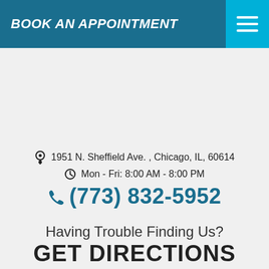BOOK AN APPOINTMENT
1951 N. Sheffield Ave. , Chicago, IL, 60614
Mon - Fri: 8:00 AM - 8:00 PM
(773) 832-5952
Having Trouble Finding Us?
GET DIRECTIONS